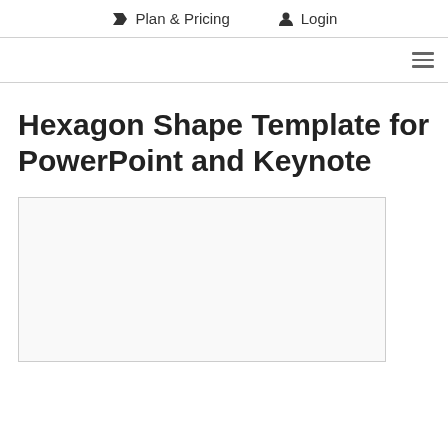Plan & Pricing   Login
Hexagon Shape Template for PowerPoint and Keynote
[Figure (other): Blank white image placeholder box with light gray border]